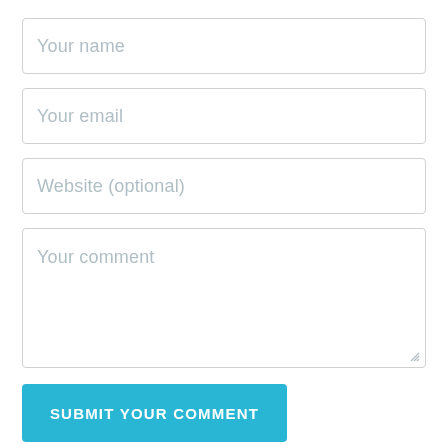[Figure (screenshot): Web comment form with input fields for name, email, website, comment, and a submit button]
Your name
Your email
Website (optional)
Your comment
SUBMIT YOUR COMMENT